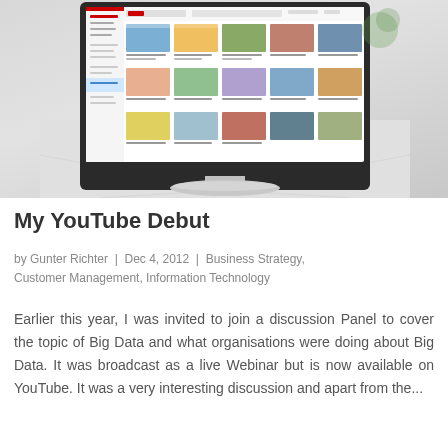[Figure (screenshot): A desktop computer monitor displaying what appears to be the YouTube website interface, showing video thumbnails in a grid layout. The monitor is placed on a white wooden surface against a blurred light background.]
My YouTube Debut
by Gunter Richter | Dec 4, 2012 | Business Strategy, Customer Management, Information Technology
Earlier this year, I was invited to join a discussion Panel to cover the topic of Big Data and what organisations were doing about Big Data. It was broadcast as a live Webinar but is now available on YouTube. It was a very interesting discussion and apart from the...